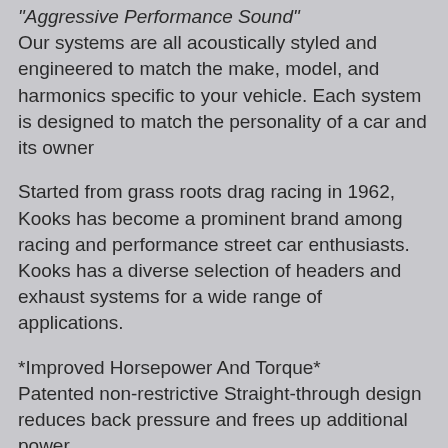"Aggressive Performance Sound"
Our systems are all acoustically styled and engineered to match the make, model, and harmonics specific to your vehicle. Each system is designed to match the personality of a car and its owner
Started from grass roots drag racing in 1962, Kooks has become a prominent brand among racing and performance street car enthusiasts. Kooks has a diverse selection of headers and exhaust systems for a wide range of applications.
*Improved Horsepower And Torque*
Patented non-restrictive Straight-through design reduces back pressure and frees up additional power.
*Potential For Better Fuel Economy*
Less back pressure and more power means your engine functions more efficiently and that translates into better fuel economy